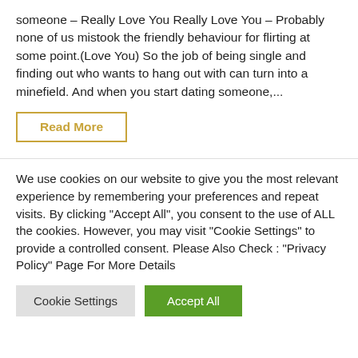someone – Really Love You Really Love You – Probably none of us mistook the friendly behaviour for flirting at some point.(Love You) So the job of being single and finding out who wants to hang out with can turn into a minefield. And when you start dating someone,...
Read More
We use cookies on our website to give you the most relevant experience by remembering your preferences and repeat visits. By clicking "Accept All", you consent to the use of ALL the cookies. However, you may visit "Cookie Settings" to provide a controlled consent. Please Also Check : "Privacy Policy" Page For More Details
Cookie Settings | Accept All